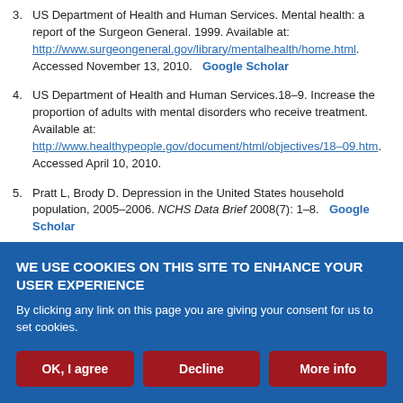3. US Department of Health and Human Services. Mental health: a report of the Surgeon General. 1999. Available at: http://www.surgeongeneral.gov/library/mentalhealth/home.html. Accessed November 13, 2010. Google Scholar
4. US Department of Health and Human Services.18–9. Increase the proportion of adults with mental disorders who receive treatment. Available at: http://www.healthypeople.gov/document/html/objectives/18–09.htm. Accessed April 10, 2010.
5. Pratt L, Brody D. Depression in the United States household population, 2005–2006. NCHS Data Brief 2008(7): 1–8. Google Scholar
6. ↵World Health Organization. The world health report 2002—reducing risks, promoting healthy life. Available at: http://www.who.int/whr/2002/en/.
WE USE COOKIES ON THIS SITE TO ENHANCE YOUR USER EXPERIENCE
By clicking any link on this page you are giving your consent for us to set cookies.